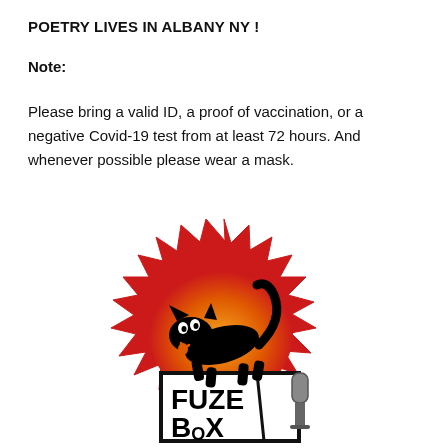POETRY LIVES IN ALBANY NY !
Note:
Please bring a valid ID, a proof of vaccination, or a negative Covid-19 test from at least 72 hours. And whenever possible please wear a mask.
[Figure (logo): Fuze Box logo: a black cartoon arched cat with wide eyes standing on a sign reading FUZE BOX, set against a red spiky burst with orange gradient center, with a microphone on the right side.]